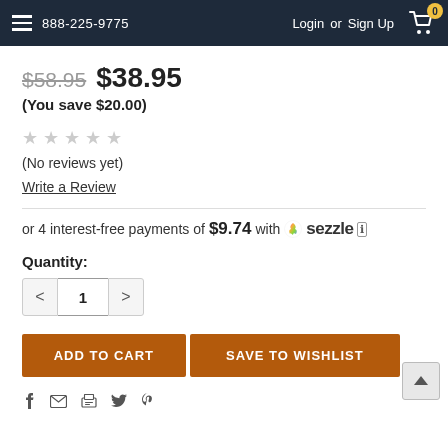888-225-9775  Login or Sign Up
$58.95  $38.95
(You save $20.00)
★ ★ ★ ★ ★
(No reviews yet)
Write a Review
or 4 interest-free payments of $9.74 with Sezzle
Quantity: 1
ADD TO CART   SAVE TO WISHLIST